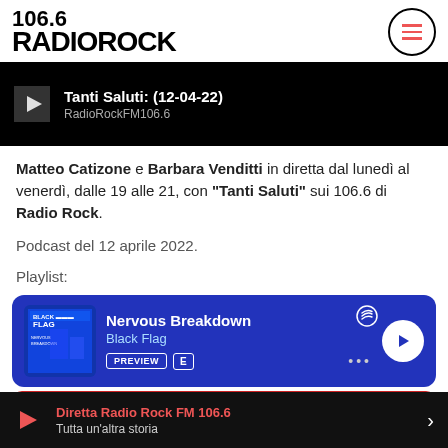106.6 RADIOROCK
[Figure (screenshot): Podcast episode banner with play button: Tanti Saluti: (12-04-22) by RadioRockFM106.6]
Matteo Catizone e Barbara Venditti in diretta dal lunedì al venerdì, dalle 19 alle 21, con "Tanti Saluti" sui 106.6 di Radio Rock.
Podcast del 12 aprile 2022.
Playlist:
[Figure (screenshot): Spotify embed card showing: Nervous Breakdown by Black Flag, with PREVIEW and E buttons and play button]
Diretta Radio Rock FM 106.6 — Tutta un'altra storia